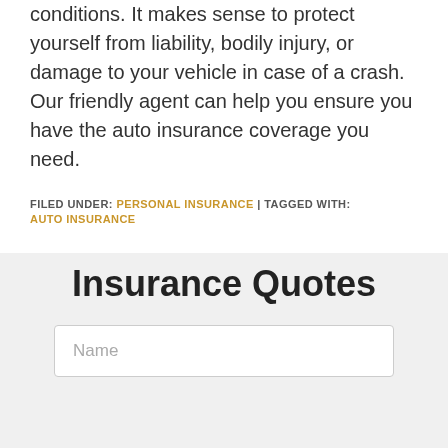conditions. It makes sense to protect yourself from liability, bodily injury, or damage to your vehicle in case of a crash. Our friendly agent can help you ensure you have the auto insurance coverage you need.
FILED UNDER: PERSONAL INSURANCE | TAGGED WITH: AUTO INSURANCE
Insurance Quotes
Name